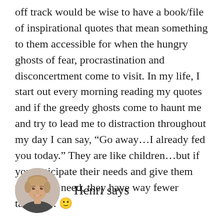off track would be wise to have a book/file of inspirational quotes that mean something to them accessible for when the hungry ghosts of fear, procrastination and disconcertment come to visit. In my life, I start out every morning reading my quotes and if the greedy ghosts come to haunt me and try to lead me to distraction throughout my day I can say, “Go away…I already fed you today.” They are like children…but if you anticipate their needs and give them what they need, they have way fewer tantrums. 😊
[Figure (photo): Circular profile photo of a young man with light brown hair, smiling]
Henri says